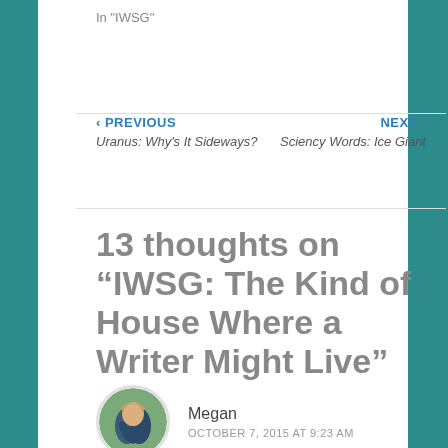In "IWSG"
‹ PREVIOUS
Uranus: Why's It Sideways?
NEXT ›
Sciency Words: Ice Giant
13 thoughts on “IWSG: The Kind of House Where a Writer Might Live”
Megan
OCTOBER 7, 2015 AT 9:23 AM